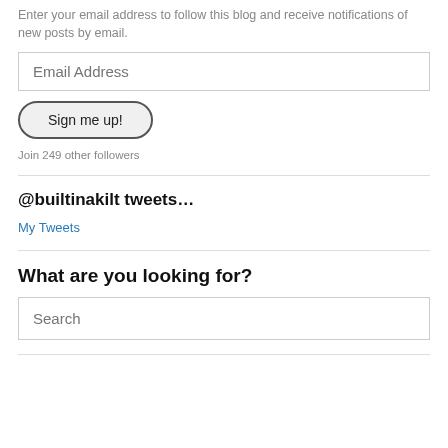Enter your email address to follow this blog and receive notifications of new posts by email.
[Figure (other): Email Address input field]
[Figure (other): Sign me up! button]
Join 249 other followers
@builtinakilt tweets…
My Tweets
What are you looking for?
[Figure (other): Search input field]